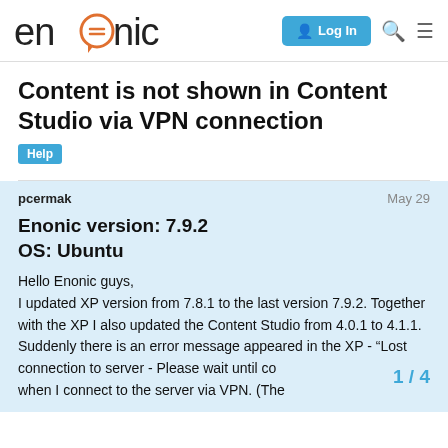enonic — Log In
Content is not shown in Content Studio via VPN connection
Help
pcermak  May 29
Enonic version: 7.9.2
OS: Ubuntu
Hello Enonic guys,
I updated XP version from 7.8.1 to the last version 7.9.2. Together with the XP I also updated the Content Studio from 4.0.1 to 4.1.1.
Suddenly there is an error message appeared in the XP - "Lost connection to server - Please wait until co… when I connect to the server via VPN. (The…
1 / 4